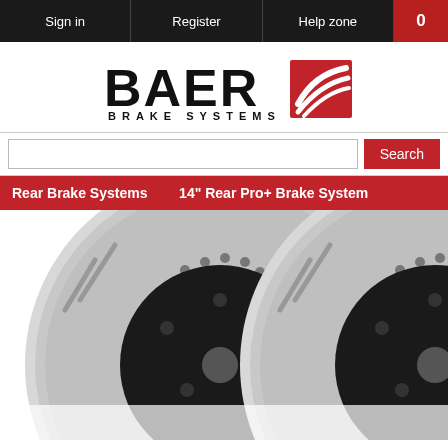Sign in | Register | Help zone | 0
[Figure (logo): BAER BRAKE SYSTEMS logo with red swoosh graphic]
[Figure (screenshot): Search input field with red Search button]
Rear Brake Systems   14" Rear Pro+ Brake System
[Figure (photo): Two large silver drilled and slotted brake rotors with black hats, side by side]